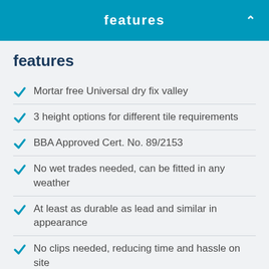features
features
Mortar free Universal dry fix valley
3 height options for different tile requirements
BBA Approved Cert. No. 89/2153
No wet trades needed, can be fitted in any weather
At least as durable as lead and similar in appearance
No clips needed, reducing time and hassle on site
Smooth surface inhibits the growth of